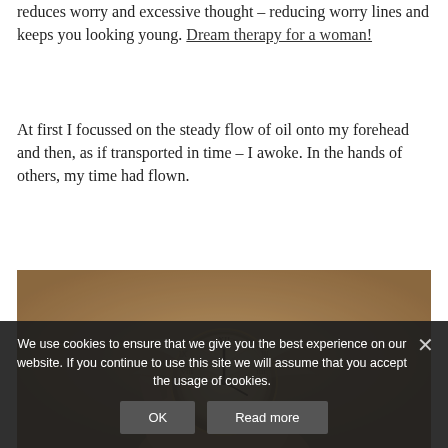reduces worry and excessive thought – reducing worry lines and keeps you looking young. Dream therapy for a woman!
At first I focussed on the steady flow of oil onto my forehead and then, as if transported in time – I awoke. In the hands of others, my time had flown.
[Figure (photo): Sepia-toned surreal image of a hand holding a pocket watch with dragonfly wings attached, evoking the concept of time flying.]
We use cookies to ensure that we give you the best experience on our website. If you continue to use this site we will assume that you accept the usage of cookies.